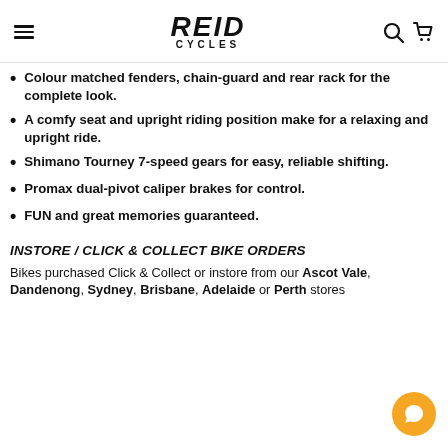REID CYCLES
Colour matched fenders, chain-guard and rear rack for the complete look.
A comfy seat and upright riding position make for a relaxing and upright ride.
Shimano Tourney 7-speed gears for easy, reliable shifting.
Promax dual-pivot caliper brakes for control.
FUN and great memories guaranteed.
INSTORE / CLICK & COLLECT BIKE ORDERS
Bikes purchased Click & Collect or instore from our Ascot Vale, Dandenong, Sydney, Brisbane, Adelaide or Perth stores